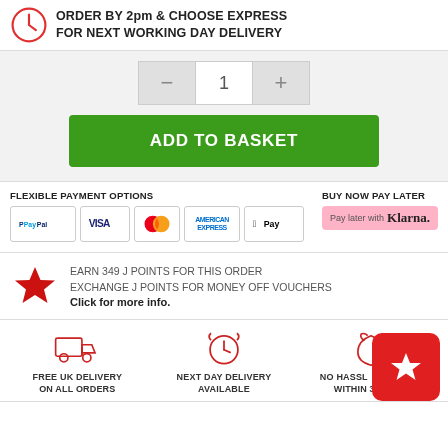ORDER BY 2pm & CHOOSE EXPRESS FOR NEXT WORKING DAY DELIVERY
[Figure (infographic): Quantity selector with minus and plus buttons showing value 1, and a green ADD TO BASKET button]
FLEXIBLE PAYMENT OPTIONS
[Figure (infographic): Payment icons: PayPal, VISA, Mastercard, American Express, Apple Pay]
BUY NOW PAY LATER
[Figure (infographic): Klarna Pay later badge - pink background with Klarna logo]
EARN 349 J POINTS FOR THIS ORDER EXCHANGE J POINTS FOR MONEY OFF VOUCHERS Click for more info.
FREE UK DELIVERY ON ALL ORDERS
NEXT DAY DELIVERY AVAILABLE
NO HASSLE RETURNS WITHIN 30 DAYS